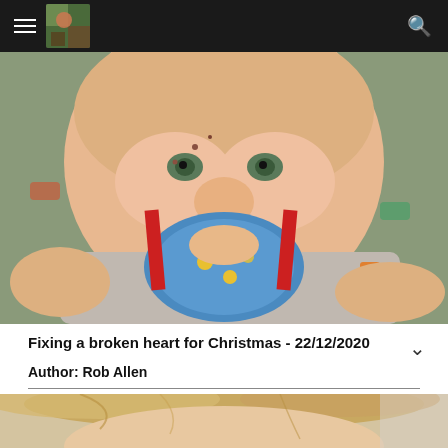Menu | Avatar | Search
[Figure (photo): Close-up photo of a young child smiling, wearing a blue bib with yellow dots and red straps, dressed in a grey shirt with toy car pattern. Child has small marks on face.]
Fixing a broken heart for Christmas - 22/12/2020
Author: Rob Allen
[Figure (photo): Partial photo of a young child with blonde hair, cropped at bottom of page.]